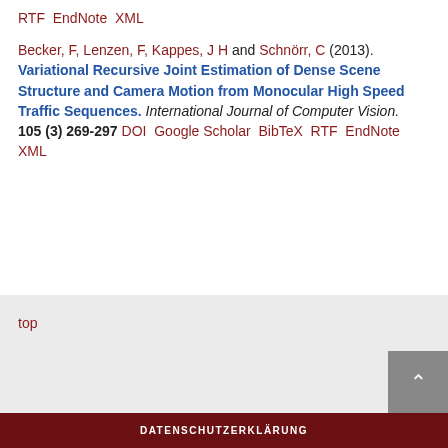RTF EndNote XML
Becker, F, Lenzen, F, Kappes, J H and Schnörr, C (2013). Variational Recursive Joint Estimation of Dense Scene Structure and Camera Motion from Monocular High Speed Traffic Sequences. International Journal of Computer Vision. 105 (3) 269-297 DOI Google Scholar BibTeX RTF EndNote XML
top
DATENSCHUTZERKLÄRUNG